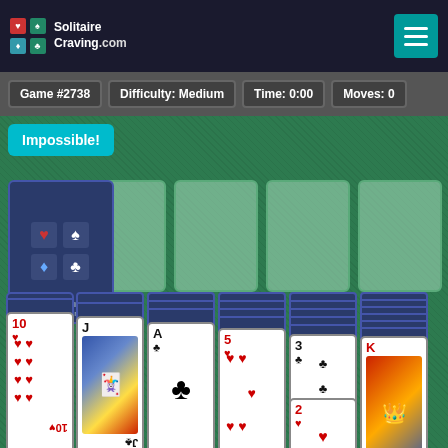[Figure (screenshot): SolitaireCraving.com Klondike Solitaire game screenshot. Game #2738, Difficulty: Medium, Time: 0:00, Moves: 0. An 'Impossible!' button is shown. The game board shows a stock pile (face-down cards with card suit icons), four empty foundation slots, and seven tableau columns with face-down and face-up cards including 10♥, J♣, A♣, 5♥, 3♣, 2♥, K♥ visible.]